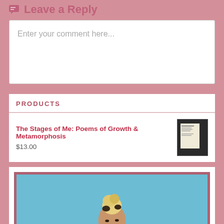Leave a Reply
Enter your comment here...
PRODUCTS
The Stages of Me: Poems of Growth & Metamorphosis
$13.00
[Figure (photo): Photo of a woman with blonde updo hairstyle against a light blue background, shown from shoulders up, looking over her shoulder]